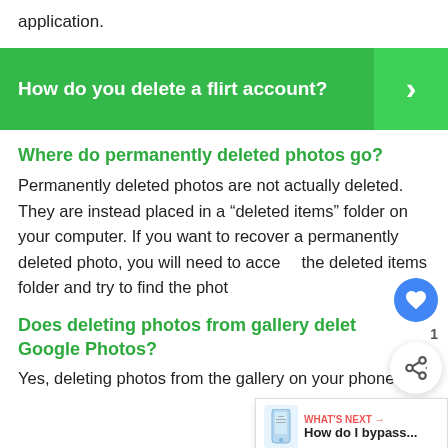application.
[Figure (other): Green banner with white bold text: 'How do you delete a flirt account?' and a right-arrow chevron on darker green right panel]
Where do permanently deleted photos go?
Permanently deleted photos are not actually deleted. They are instead placed in a “deleted items” folder on your computer. If you want to recover a permanently deleted photo, you will need to access the deleted items folder and try to find the photo.
Does deleting photos from gallery delete from Google Photos?
Yes, deleting photos from the gallery on your phone